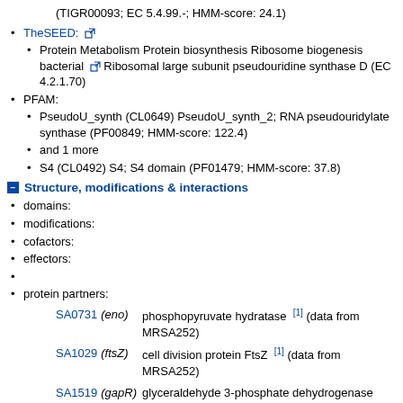(TIGR00093; EC 5.4.99.-; HMM-score: 24.1)
TheSEED: [external link]
Protein Metabolism Protein biosynthesis Ribosome biogenesis bacterial [external link] Ribosomal large subunit pseudouridine synthase D (EC 4.2.1.70)
PFAM:
PseudoU_synth (CL0649) PseudoU_synth_2; RNA pseudouridylate synthase (PF00849; HMM-score: 122.4)
and 1 more
S4 (CL0492) S4; S4 domain (PF01479; HMM-score: 37.8)
Structure, modifications & interactions
domains:
modifications:
cofactors:
effectors:
protein partners:
SA0731 (eno) phosphopyruvate hydratase [1] (data from MRSA252)
SA1029 (ftsZ) cell division protein FtsZ [1] (data from MRSA252)
SA1519 (gapR) glyceraldehyde 3-phosphate dehydrogenase